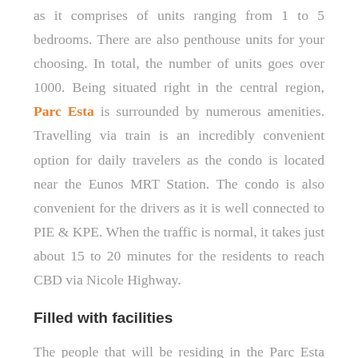as it comprises of units ranging from 1 to 5 bedrooms. There are also penthouse units for your choosing. In total, the number of units goes over 1000. Being situated right in the central region, Parc Esta is surrounded by numerous amenities. Travelling via train is an incredibly convenient option for daily travelers as the condo is located near the Eunos MRT Station. The condo is also convenient for the drivers as it is well connected to PIE & KPE. When the traffic is normal, it takes just about 15 to 20 minutes for the residents to reach CBD via Nicole Highway.
Filled with facilities
The people that will be residing in the Parc Esta Condo will get access to shop in some of the